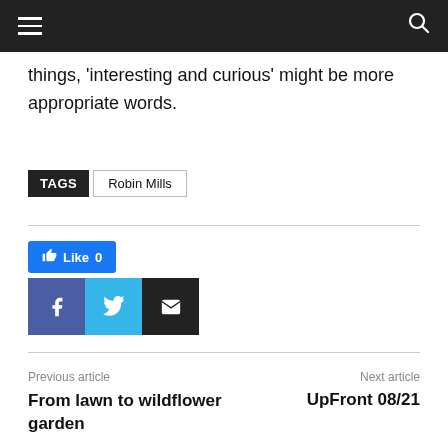☰  🔍
things, ‘interesting and curious’ might be more appropriate words.
TAGS  Robin Mills
[Figure (infographic): Like button (blue) with thumbs up icon and count 0, followed by Facebook, Twitter, and email share buttons]
Previous article
From lawn to wildflower garden
Next article
UpFront 08/21